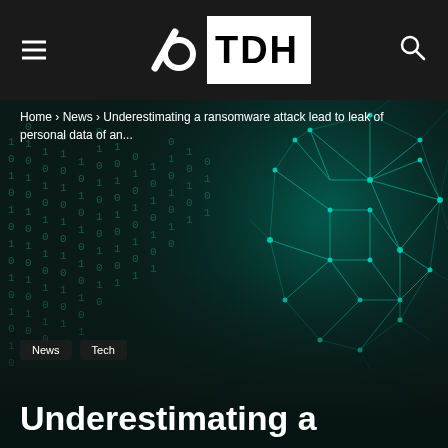TDH
Home › News › Underestimating a ransomware attack lead to leak of personal data of an...
[Figure (illustration): Dark cyberpunk background showing a glowing teal network/polygon wireframe face silhouette against a matrix of falling binary digits (0s and 1s) on a dark teal/black background, suggesting a hacker or cybersecurity threat.]
News
Tech
Underestimating a